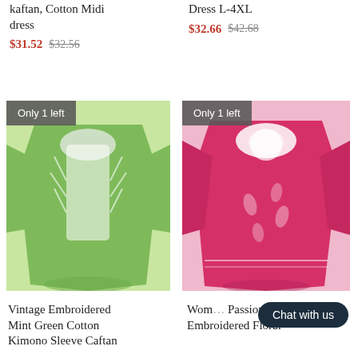kaftan, Cotton Midi dress
$31.52 $32.56
Dress L-4XL
$32.66 $42.68
[Figure (photo): Green kaftan with white floral embroidery, labeled Only 1 left]
[Figure (photo): Pink kaftan with white embroidery at neckline, labeled Only 1 left]
Vintage Embroidered Mint Green Cotton Kimono Sleeve Caftan
Wom... Passionate Plum Dahlia Embroidered Floral